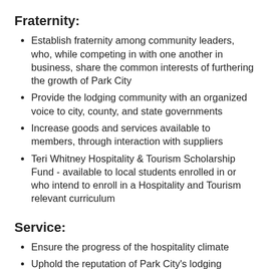Fraternity:
Establish fraternity among community leaders, who, while competing in with one another in business, share the common interests of furthering the growth of Park City
Provide the lodging community with an organized voice to city, county, and state governments
Increase goods and services available to members, through interaction with suppliers
Teri Whitney Hospitality & Tourism Scholarship Fund - available to local students enrolled in or who intend to enroll in a Hospitality and Tourism relevant curriculum
Service:
Ensure the progress of the hospitality climate
Uphold the reputation of Park City's lodging community